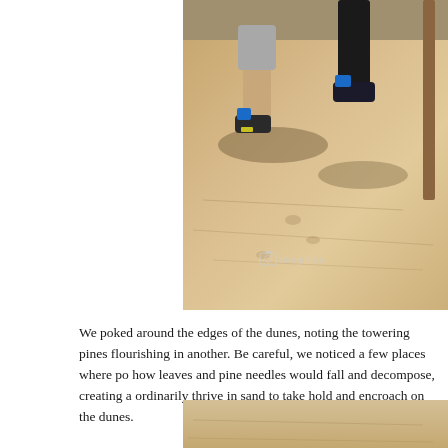[Figure (photo): Photograph of children's legs and feet standing on sandy dune ground, with shadows visible. A wooden post is visible on the right. Watermark reading 'dangirl.ca' with camera icon appears at bottom center of photo.]
We poked around the edges of the dunes, noting the towering pines flourishing in another. Be careful, we noticed a few places where po how leaves and pine needles would fall and decompose, creating a ordinarily thrive in sand to take hold and encroach on the dunes.
[Figure (photo): Partial bottom photograph showing sandy ground, cropped at the bottom of the page.]